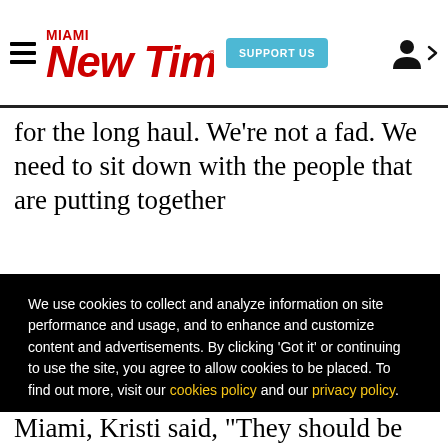Miami New Times — SUPPORT US
for the long haul. We're not a fad. We need to sit down with the people that are putting together
We use cookies to collect and analyze information on site performance and usage, and to enhance and customize content and advertisements. By clicking 'Got it' or continuing to use the site, you agree to allow cookies to be placed. To find out more, visit our cookies policy and our privacy policy.
Got it!
come Miami she her r the in Miami, Kristi said, 'They should be licensed,'